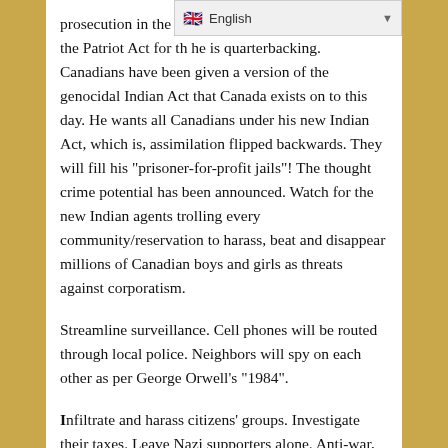[Figure (screenshot): Language selector bar showing English with UK flag icon and dropdown arrow]
prosecution in the jurisdictions the “Hail Mary” is the Patriot Act for the he is quarterbacking. Canadians have been given a version of the genocidal Indian Act that Canada exists on to this day. He wants all Canadians under his new Indian Act, which is, assimilation flipped backwards. They will fill his “prisoner-for-profit jails”! The thought crime potential has been announced. Watch for the new Indian agents trolling every community/reservation to harass, beat and disappear millions of Canadian boys and girls as threats against corporatism.
Streamline surveillance. Cell phones will be routed through local police. Neighbors will spy on each other as per George Orwell’s “1984”.
Infiltrate and harass citizens’ groups. Investigate their taxes. Leave Nazi supporters alone. Anti-war, environmentalists and other groups are infiltrated. Maintain a database of peace and any protesters. Terrorism is whatever they decide. Anti-war marchers are potential terrorists and put on a watch list. Once you are